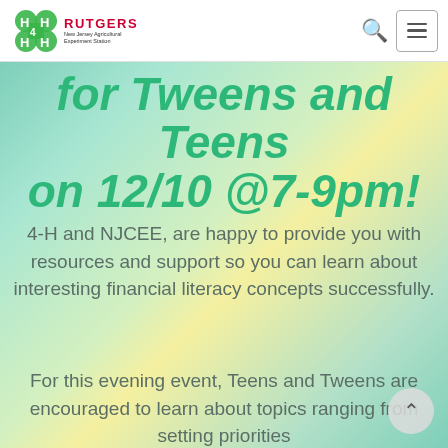4-H Rutgers New Jersey Agricultural Experiment Station — Navigation bar with logo, search icon, and menu button
for Tweens and Teens on 12/10 @7-9pm!
4-H and NJCEE, are happy to provide you with resources and support so you can learn about interesting financial literacy concepts successfully.
For this evening event, Teens and Tweens are encouraged to learn about topics ranging from setting priorities